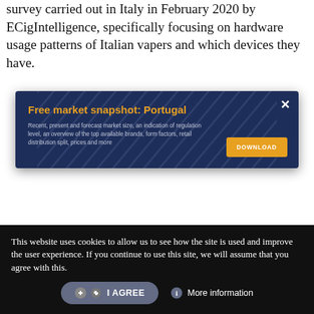survey carried out in Italy in February 2020 by ECigIntelligence, specifically focusing on hardware usage patterns of Italian vapers and which devices they have.
[Figure (infographic): Promotional popup banner with dark navy blue background and subtle diagonal pattern. Title: 'Free market snapshot: Portugal' in orange/gold. Description text in light gray. Orange 'DOWNLOAD' button on the right. White X close button in top right corner.]
This website uses cookies to allow us to see how the site is used and improve the user experience. If you continue to use this site, we will assume that you agree with this.
I AGREE    More information